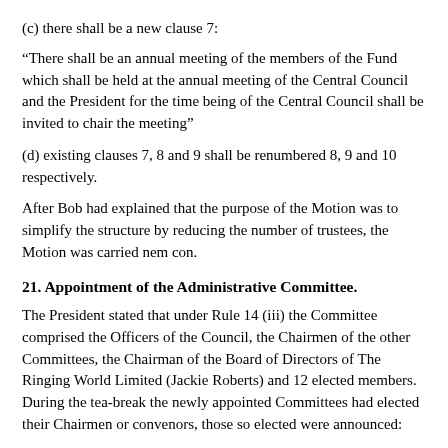(c) there shall be a new clause 7:
“There shall be an annual meeting of the members of the Fund which shall be held at the annual meeting of the Central Council and the President for the time being of the Central Council shall be invited to chair the meeting”
(d) existing clauses 7, 8 and 9 shall be renumbered 8, 9 and 10 respectively.
After Bob had explained that the purpose of the Motion was to simplify the structure by reducing the number of trustees, the Motion was carried nem con.
21. Appointment of the Administrative Committee.
The President stated that under Rule 14 (iii) the Committee comprised the Officers of the Council, the Chairmen of the other Committees, the Chairman of the Board of Directors of The Ringing World Limited (Jackie Roberts) and 12 elected members. During the tea-break the newly appointed Committees had elected their Chairmen or convenors, those so elected were announced:
Bell Restoration - Carol Hardwick
Ringing Library - Pat Hall